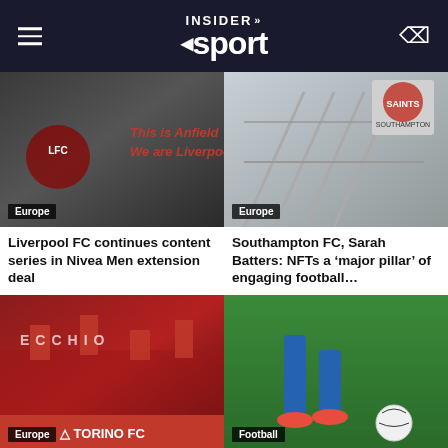INSIDER sport
[Figure (photo): Anfield stadium interior wall with LFC logo and text 'This is Anfield, We are Liverpool' in orange letters]
Europe
Liverpool FC continues content series in Nivea Men extension deal
[Figure (photo): Southampton FC stadium exterior with Saints logo]
Europe
Southampton FC, Sarah Batters: NFTs a 'major pillar' of engaging football...
[Figure (photo): Torino FC fans in stadium with flags and banners, Torino FC branding visible]
Europe
PlanetPay365 expands Serie A presence with Torino FC
[Figure (photo): Football player legs in blue socks and red boots on green pitch with ball]
Football
NWSL makes three senior hirings at 'pivotal' time for the league